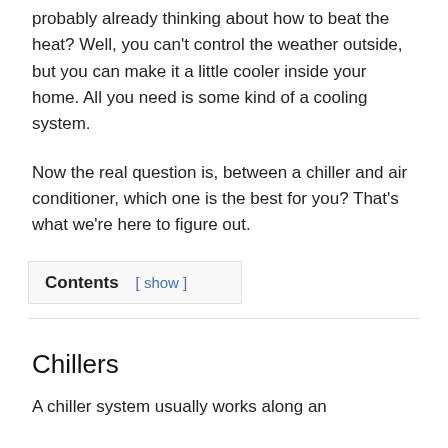probably already thinking about how to beat the heat? Well, you can't control the weather outside, but you can make it a little cooler inside your home. All you need is some kind of a cooling system.
Now the real question is, between a chiller and air conditioner, which one is the best for you? That's what we're here to figure out.
Contents [ show ]
Chillers
A chiller system usually works along an